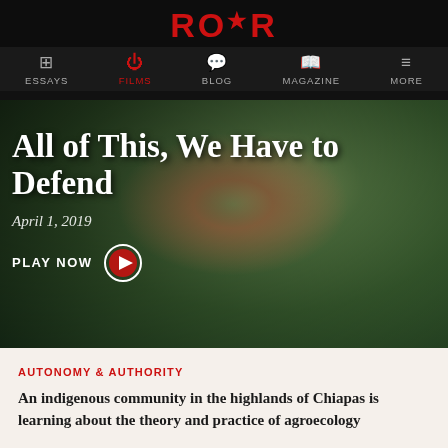ROAR
ESSAYS  FILMS  BLOG  MAGAZINE  MORE
[Figure (photo): Indigenous man wearing a straw hat and striped shirt standing among lush green coffee plants in what appears to be a highland farm setting.]
All of This, We Have to Defend
April 1, 2019
PLAY NOW
AUTONOMY & AUTHORITY
An indigenous community in the highlands of Chiapas is learning about the theory and practice of agroecology